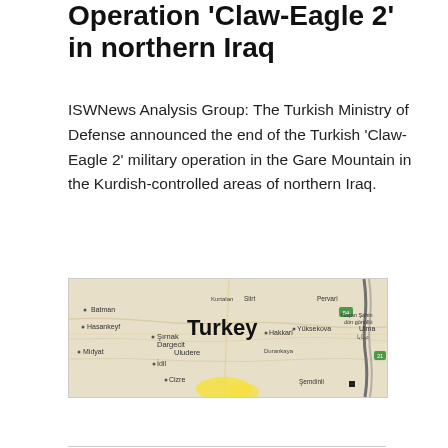Operation 'Claw-Eagle 2' in northern Iraq
ISWNews Analysis Group: The Turkish Ministry of Defense announced the end of the Turkish 'Claw-Eagle 2' military operation in the Gare Mountain in the Kurdish-controlled areas of northern Iraq.
[Figure (map): Map showing southern Turkey and northern Iraq border region, with cities labeled including Batman, Hasankeyf, Midyat, Şırnak, Cizre, Hakkari, Yüksekova, and the label 'Turkey' prominent in the center. A yellow highlighted area is visible at the bottom center, and a dark river runs along the right side.]